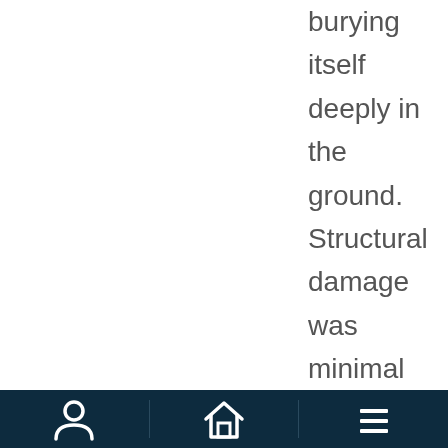burying itself deeply in the ground. Structural damage was minimal and utilities were knocked out but the clinic continued
[Figure (other): Mobile app navigation bar with dark navy background containing three icons: a person/profile icon on the left, a house/home icon in the center, and a hamburger menu icon on the right, separated by vertical dividers.]